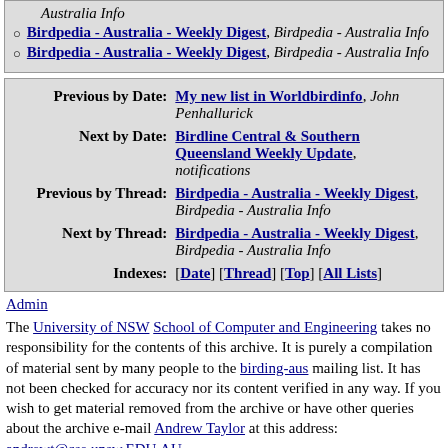Birdpedia - Australia - Weekly Digest, Birdpedia - Australia Info
Birdpedia - Australia - Weekly Digest, Birdpedia - Australia Info
| Previous by Date: | My new list in Worldbirdinfo, John Penhallurick |
| Next by Date: | Birdline Central & Southern Queensland Weekly Update, notifications |
| Previous by Thread: | Birdpedia - Australia - Weekly Digest, Birdpedia - Australia Info |
| Next by Thread: | Birdpedia - Australia - Weekly Digest, Birdpedia - Australia Info |
| Indexes: | [Date] [Thread] [Top] [All Lists] |
Admin
The University of NSW School of Computer and Engineering takes no responsibility for the contents of this archive. It is purely a compilation of material sent by many people to the birding-aus mailing list. It has not been checked for accuracy nor its content verified in any way. If you wish to get material removed from the archive or have other queries about the archive e-mail Andrew Taylor at this address: andrewt@cse.unsw.EDU.AU